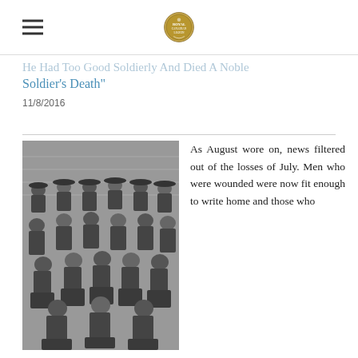[Hamburger menu] [Logo/crest icon]
He Had Too Good Soldierly And Died A Noble Soldier's Death"
11/8/2016
[Figure (photo): Black and white group photograph of soldiers in military uniforms and caps, posed in three rows.]
As August wore on, news filtered out of the losses of July. Men who were wounded were now fit enough to write home and those who